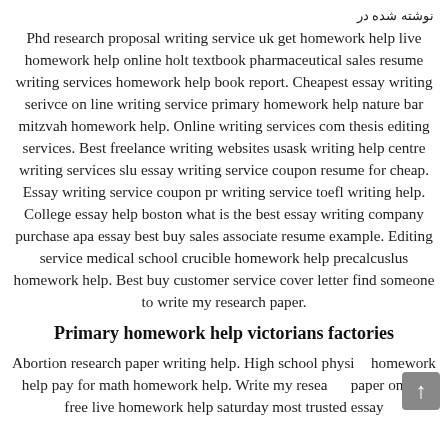نوشته شده در
Phd research proposal writing service uk get homework help live homework help online holt textbook pharmaceutical sales resume writing services homework help book report. Cheapest essay writing serivce on line writing service primary homework help nature bar mitzvah homework help. Online writing services com thesis editing services. Best freelance writing websites usask writing help centre writing services slu essay writing service coupon resume for cheap. Essay writing service coupon pr writing service toefl writing help. College essay help boston what is the best essay writing company purchase apa essay best buy sales associate resume example. Editing service medical school crucible homework help precalcuslus homework help. Best buy customer service cover letter find someone to write my research paper.
Primary homework help victorians factories
Abortion research paper writing help. High school physics homework help pay for math homework help. Write my research paper online free live homework help saturday most trusted essay...